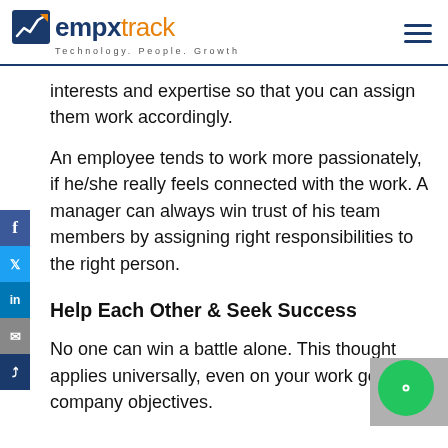empxtrack — Technology. People. Growth
interests and expertise so that you can assign them work accordingly.
An employee tends to work more passionately, if he/she really feels connected with the work. A manager can always win trust of his team members by assigning right responsibilities to the right person.
Help Each Other & Seek Success
No one can win a battle alone. This thought applies universally, even on your work go and company objectives.